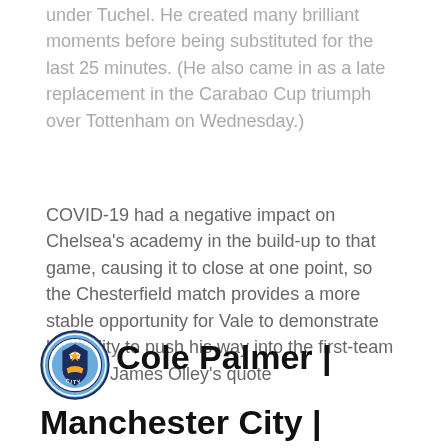under Tuchel. He created many brilliant moments before being substituted for the last 25 minutes. (He also came in as a late replacement in the Carabao Cup triumph over Tottenham on Wednesday.)
COVID-19 had a negative impact on Chelsea's academy in the build-up to that game, causing it to close at one point, so the Chesterfield match provides a more stable opportunity for Vale to demonstrate his ability to push his way into the first-team picture. James Olley's quote
Cole Palmer | Manchester City | Forward | 19 years old